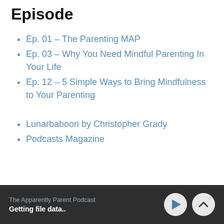Episode
Ep. 01 – The Parenting MAP
Ep. 03 – Why You Need Mindful Parenting In Your Life
Ep. 12 – 5 Simple Ways to Bring Mindfulness to Your Parenting
Lunarbaboon by Christopher Grady
Podcasts Magazine
The Apparently Parent Podcast
Getting file data..